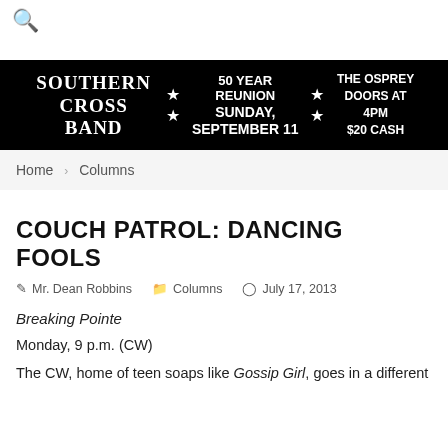🔍
[Figure (other): Advertisement banner for Southern Cross Band 50 Year Reunion, Sunday September 11, The Osprey, Doors at 4PM, $20 Cash]
Home › Columns
COUCH PATROL: DANCING FOOLS
Mr. Dean Robbins  Columns  July 17, 2013
Breaking Pointe
Monday, 9 p.m. (CW)
The CW, home of teen soaps like Gossip Girl, goes in a different